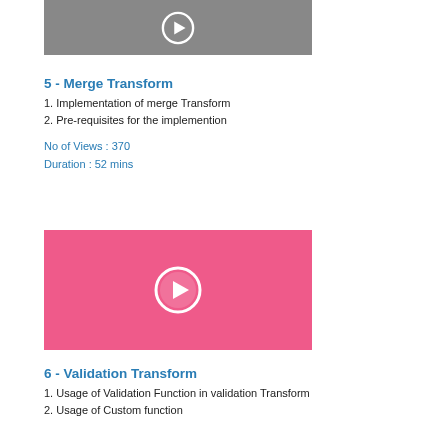[Figure (screenshot): Gray video thumbnail with white play button icon]
5 - Merge Transform
1. Implementation of merge Transform
2. Pre-requisites for the implemention
No of Views : 370
Duration : 52 mins
[Figure (screenshot): Pink video thumbnail with white play button icon]
6 - Validation Transform
1. Usage of Validation Function in validation Transform
2. Usage of Custom function